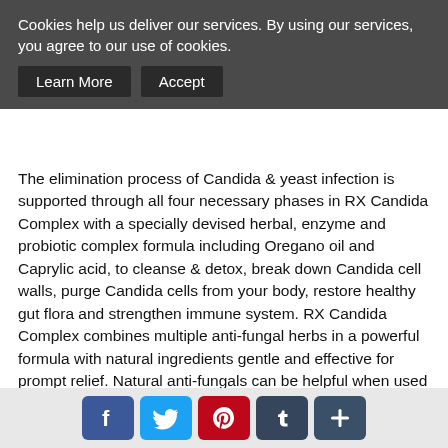Cookies help us deliver our services. By using our services, you agree to our use of cookies.
Learn More   Accept
The elimination process of Candida & yeast infection is supported through all four necessary phases in RX Candida Complex with a specially devised herbal, enzyme and probiotic complex formula including Oregano oil and Caprylic acid, to cleanse & detox, break down Candida cell walls, purge Candida cells from your body, restore healthy gut flora and strengthen immune system. RX Candida Complex combines multiple anti-fungal herbs in a powerful formula with natural ingredients gentle and effective for prompt relief. Natural anti-fungals can be helpful when used individually in a high enough dose to kill the yeast that can irritate the stomach. RX Candida Complex uses a blend of anti-fungal herbs with enzymes and cleansers to reduce unpleasant side effects caused by die-off. Easy and effective Candida cleansing and elimination and restoration of healthy gut flora with L. Acidophilus. Just two taken with a meal daily is your way to health and a balanced gut. The natural and powerful blend of ingredients is in an easy to swallow powder-in-a-capsule form. 30-Day supply (60 capsules, 2 a day). Safe and effective. Made of premium, quality ingredients. 100% money back guarantee - If you are in any way unsatisfied with the results you gain from RX Candida
[Figure (infographic): Social media share buttons: Facebook (blue), Twitter (light blue), Pinterest (red), Tumblr (dark blue-grey), More/Plus (dark teal)]